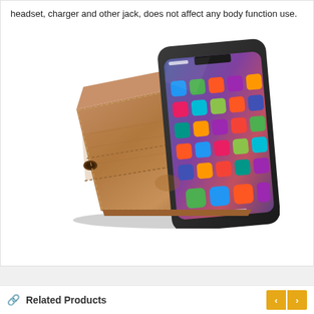headset, charger and other jack, does not affect any body function use.
[Figure (photo): Brown leather wallet phone case open flat with a smartphone (showing colorful app icons and home screen) propped up in the case. The leather case has card slots visible and a magnetic button closure strap.]
Related Products